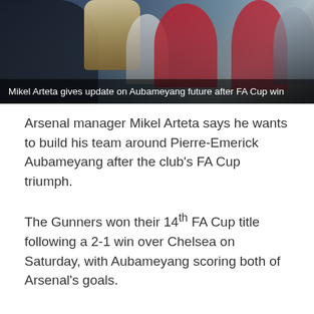[Figure (photo): Sports photo showing Arsenal FA Cup celebration with players in red and white, a trophy visible, against a stadium background. Overlaid with article headline text.]
Mikel Arteta gives update on Aubameyang future after FA Cup win
Arsenal manager Mikel Arteta says he wants to build his team around Pierre-Emerick Aubameyang after the club's FA Cup triumph.
The Gunners won their 14th FA Cup title following a 2-1 win over Chelsea on Saturday, with Aubameyang scoring both of Arsenal's goals.